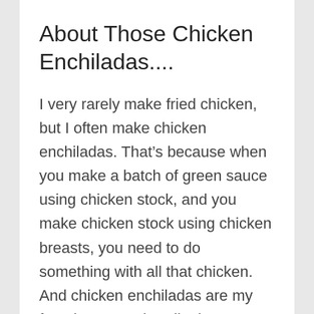About Those Chicken Enchiladas....
I very rarely make fried chicken, but I often make chicken enchiladas. That’s because when you make a batch of green sauce using chicken stock, and you make chicken stock using chicken breasts, you need to do something with all that chicken. And chicken enchiladas are my favorite way to handle the situation.
If you’ve seen my chocolate enchilada recipe, this one is pretty much the same, but with chicken. Unlike my chocolatey, beefy version, I always pan fry the tortillas before dipping them into the